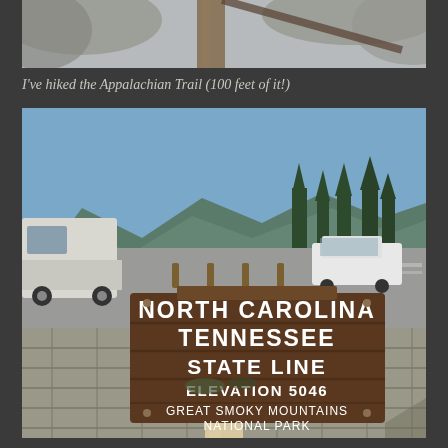[Figure (photo): Top partial photo showing blurry outdoor scene with trees/foliage and a wooden post, appears to be a nature setting]
I've hiked the Appalachian Trail (100 feet of it!)
[Figure (photo): Photo of North Carolina Tennessee State Line sign at Great Smoky Mountains National Park, Elevation 5046, with parking lot, vehicles, trees and mountains in background]